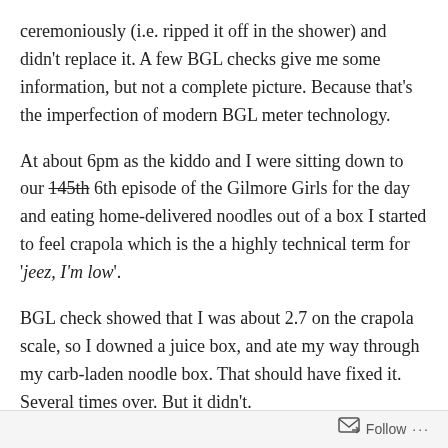ceremoniously (i.e. ripped it off in the shower) and didn't replace it. A few BGL checks give me some information, but not a complete picture. Because that's the imperfection of modern BGL meter technology.
At about 6pm as the kiddo and I were sitting down to our 145th [strikethrough] 6th episode of the Gilmore Girls for the day and eating home-delivered noodles out of a box I started to feel crapola which is the a highly technical term for 'jeez, I'm low'.
BGL check showed that I was about 2.7 on the crapola scale, so I downed a juice box, and ate my way through my carb-laden noodle box. That should have fixed it. Several times over. But it didn't.
Follow